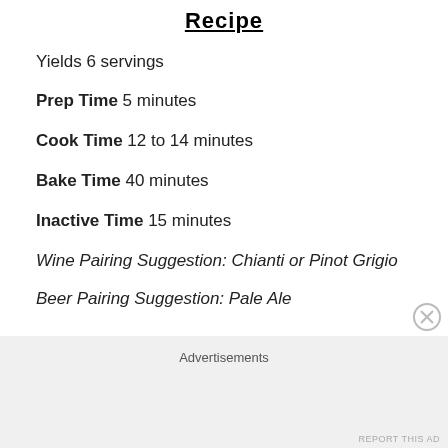Recipe
Yields 6 servings
Prep Time  5 minutes
Cook Time  12 to 14 minutes
Bake Time  40 minutes
Inactive Time  15 minutes
Wine Pairing Suggestion: Chianti or Pinot Grigio
Beer Pairing Suggestion: Pale Ale
Advertisements